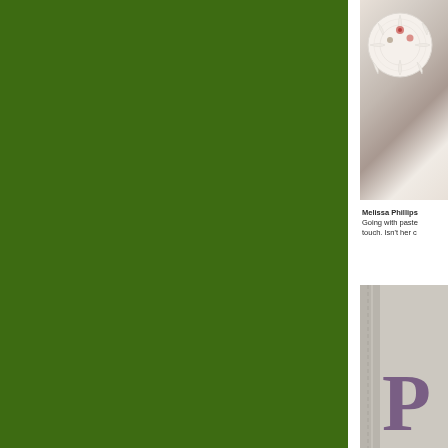[Figure (photo): Large dark green solid color panel occupying the left ~78% of the page]
[Figure (photo): Top right photo showing a white decorative doily with dried flowers and floral elements on a light textured background]
Melissa Phillips Going with paste touch. Isn't her c
[Figure (photo): Bottom right photo showing a close-up of what appears to be a decorative item with an ornate frame edge and a large purple letter 'P' or stamp]